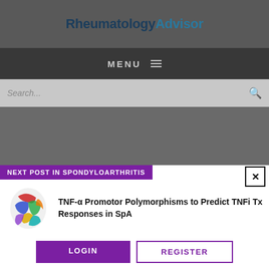RheumatologyAdvisor
MENU ≡
Search...
Enjoying our content?
Thanks for visiting Rheumatology Advisor. We hope you're enjoying the latest clinical news, full-length features, case studies, and more.
NEXT POST IN SPONDYLOARTHRITIS
TNF-α Promotor Polymorphisms to Predict TNFi Tx Responses in SpA
LOGIN
REGISTER